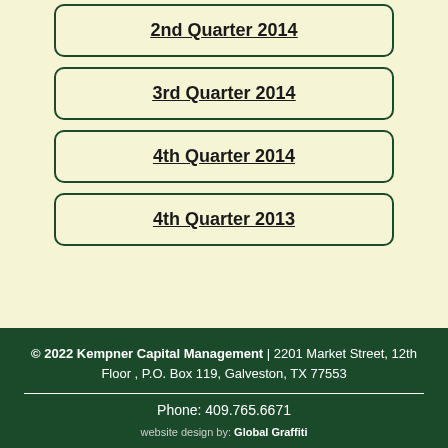2nd Quarter 2014
3rd Quarter 2014
4th Quarter 2014
4th Quarter 2013
© 2022 Kempner Capital Management | 2201 Market Street, 12th Floor , P.O. Box 119, Galveston, TX 77553 Phone: 409.765.6671 website design by: Global Graffiti